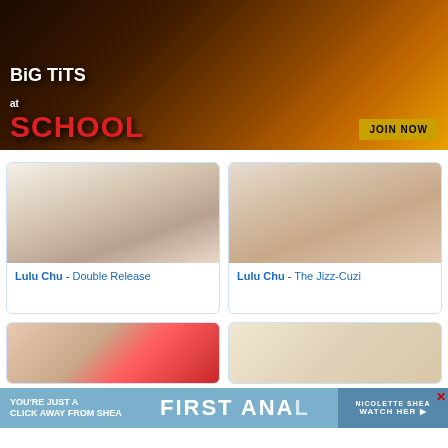[Figure (photo): Adult website banner advertisement for 'Big Tits at School' with JOIN NOW button]
[Figure (photo): Thumbnail image for adult video featuring Lulu Chu - Double Release]
Lulu Chu - Double Release
[Figure (photo): Thumbnail image for adult video featuring Lulu Chu - The Jizz-Cuzi]
Lulu Chu - The Jizz-Cuzi
[Figure (photo): Partial thumbnail of another adult video]
[Figure (photo): Partial thumbnail of another adult video]
[Figure (photo): Bottom banner advertisement: YOU'RE JUST A CLICK AWAY FROM SHEA / FIRST ANA... / NICOLETTE SHEA / WATCH HER]